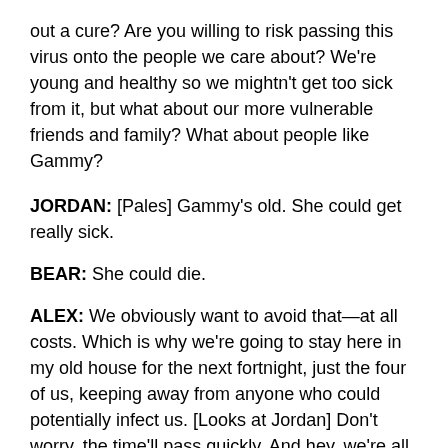out a cure? Are you willing to risk passing this virus onto the people we care about? We're young and healthy so we mightn't get too sick from it, but what about our more vulnerable friends and family? What about people like Gammy?
JORDAN: [Pales] Gammy's old. She could get really sick.
BEAR: She could die.
ALEX: We obviously want to avoid that—at all costs. Which is why we're going to stay here in my old house for the next fortnight, just the four of us, keeping away from anyone who could potentially infect us. [Looks at Jordan] Don't worry, the time'll pass quickly. And hey, we're all in this together. Which means…
JORDAN: We'll all get through it together.